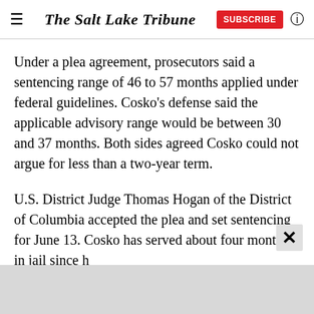The Salt Lake Tribune | SUBSCRIBE
Under a plea agreement, prosecutors said a sentencing range of 46 to 57 months applied under federal guidelines. Cosko's defense said the applicable advisory range would be between 30 and 37 months. Both sides agreed Cosko could not argue for less than a two-year term.
U.S. District Judge Thomas Hogan of the District of Columbia accepted the plea and set sentencing for June 13. Cosko has served about four months in jail since h